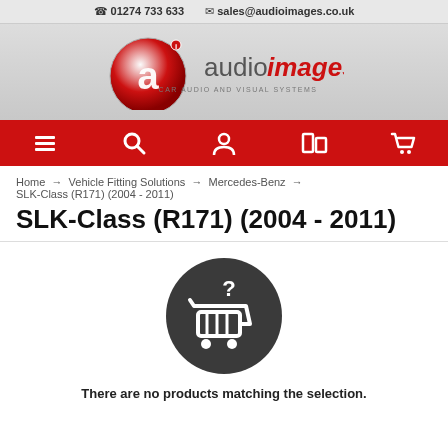☎ 01274 733 633  ✉ sales@audioimages.co.uk
[Figure (logo): Audio Images logo - red circular 'ai' icon with audioimages text and 'CAR AUDIO AND VISUAL SYSTEMS' tagline]
[Figure (other): Red navigation bar with menu, search, account, compare and cart icons]
Home → Vehicle Fitting Solutions → Mercedes-Benz → SLK-Class (R171) (2004 - 2011)
SLK-Class (R171) (2004 - 2011)
[Figure (illustration): Dark grey circle with white shopping cart icon and question mark, indicating no products found]
There are no products matching the selection.